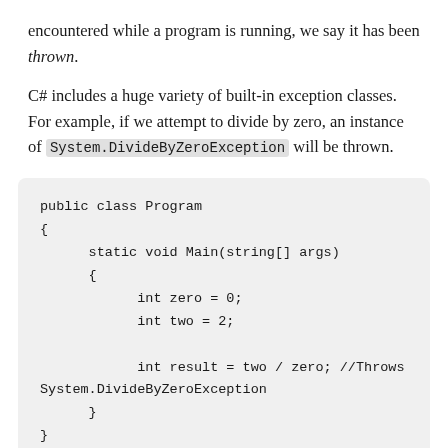encountered while a program is running, we say it has been thrown.
C# includes a huge variety of built-in exception classes. For example, if we attempt to divide by zero, an instance of System.DivideByZeroException will be thrown.
public class Program
{
    static void Main(string[] args)
    {
        int zero = 0;
        int two = 2;

        int result = two / zero; //Throws System.DivideByZeroException
    }
}